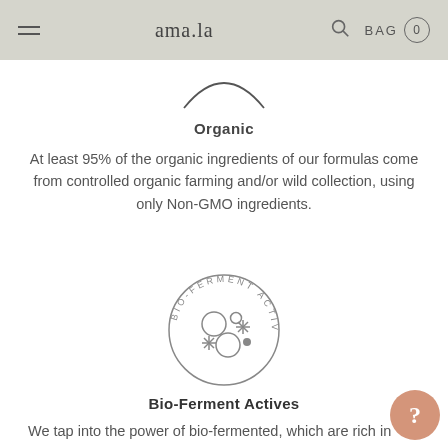ama.la  BAG 0
[Figure (illustration): Bottom arc of a circular badge partially visible at the top, dark outline on light grey background]
Organic
At least 95% of the organic ingredients of our formulas come from controlled organic farming and/or wild collection, using only Non-GMO ingredients.
[Figure (logo): Bio-Ferment Actives circular badge with text arranged in a circle and organic/cell-like icons (circles, asterisks, dots) in the center]
Bio-Ferment Actives
We tap into the power of bio-fermented, which are rich in